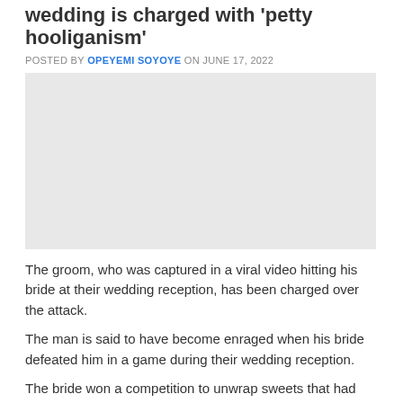wedding is charged with 'petty hooliganism'
POSTED BY OPEYEMI SOYOYE ON JUNE 17, 2022
[Figure (photo): Image placeholder for article photo]
The groom, who was captured in a viral video hitting his bride at their wedding reception, has been charged over the attack.
The man is said to have become enraged when his bride defeated him in a game during their wedding reception.
The bride won a competition to unwrap sweets that had been organized by guests at their wedding that was held in the southern region of Surkhandaryo in Uzbekistan on June 6.